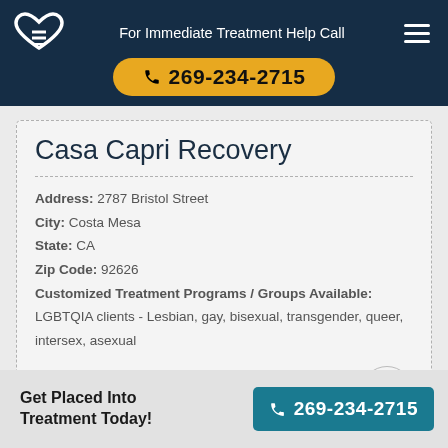For Immediate Treatment Help Call 269-234-2715
Casa Capri Recovery
Address: 2787 Bristol Street
City: Costa Mesa
State: CA
Zip Code: 92626
Customized Treatment Programs / Groups Available:
LGBTQIA clients - Lesbian, gay, bisexual, transgender, queer, intersex, asexual
Learn More About This Rehab
Get Placed Into Treatment Today! 269-234-2715